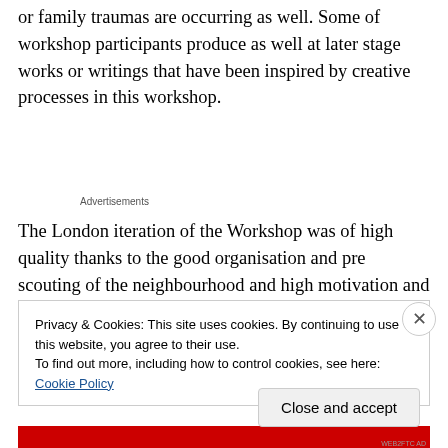or family traumas are occurring as well. Some of workshop participants produce as well at later stage works or writings that have been inspired by creative processes in this workshop.
Advertisements
The London iteration of the Workshop was of high quality thanks to the good organisation and pre scouting of the neighbourhood and high motivation and quality of the
Privacy & Cookies: This site uses cookies. By continuing to use this website, you agree to their use.
To find out more, including how to control cookies, see here: Cookie Policy
Close and accept